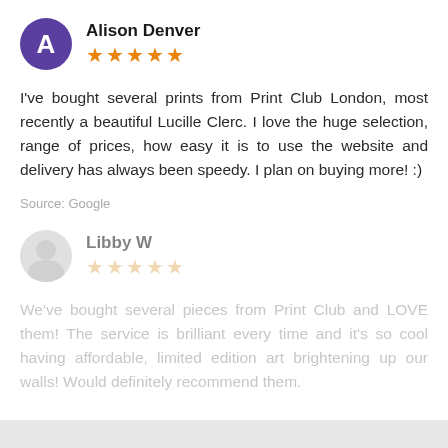Alison Denver
★★★★★ (5 stars)
I've bought several prints from Print Club London, most recently a beautiful Lucille Clerc. I love the huge selection, range of prices, how easy it is to use the website and delivery has always been speedy. I plan on buying more! :)
Source: Google
Libby W
★★★★★ (5 stars)
We've bought several pieces from Print Club and LOVE them! The service is brilliant every time and it's so cool having affordable, limited edition art brightening up our walls! Would definitely recommend them.